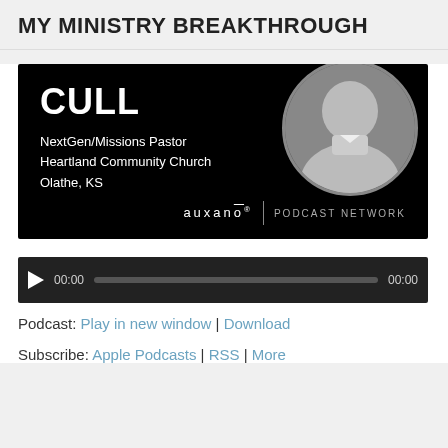MY MINISTRY BREAKTHROUGH
[Figure (illustration): Podcast banner with black background showing 'CULL', NextGen/Missions Pastor, Heartland Community Church, Olathe, KS, with a circular black-and-white portrait photo on the right and the auxano PODCAST NETWORK logo at the bottom.]
[Figure (screenshot): Audio player bar with play button, 00:00 current time, progress bar, and 00:00 end time on dark background.]
Podcast: Play in new window | Download
Subscribe: Apple Podcasts | RSS | More